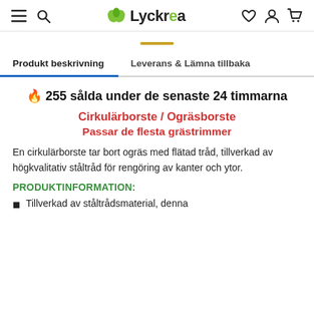Lyckrea — navigation header with menu, search, wishlist, account, cart icons
255 sålda under de senaste 24 timmarna
Cirkulärborste / Ogräsborste
Passar de flesta grästrimmer
En cirkulärborste tar bort ogräs med flätad tråd, tillverkad av högkvalitativ ståltråd för rengöring av kanter och ytor.
PRODUKTINFORMATION:
Tillverkad av ståltrådsmaterial, denna